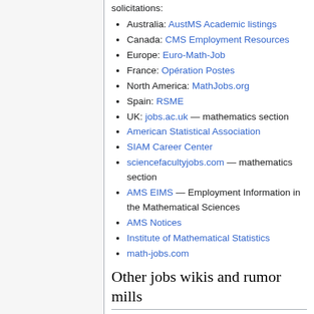solicitations:
Australia: AustMS Academic listings
Canada: CMS Employment Resources
Europe: Euro-Math-Job
France: Opération Postes
North America: MathJobs.org
Spain: RSME
UK: jobs.ac.uk — mathematics section
American Statistical Association
SIAM Career Center
sciencefacultyjobs.com — mathematics section
AMS EIMS — Employment Information in the Mathematical Sciences
AMS Notices
Institute of Mathematical Statistics
math-jobs.com
Other jobs wikis and rumor mills
Theoretical Particle Physics Jobs Rumor Mill